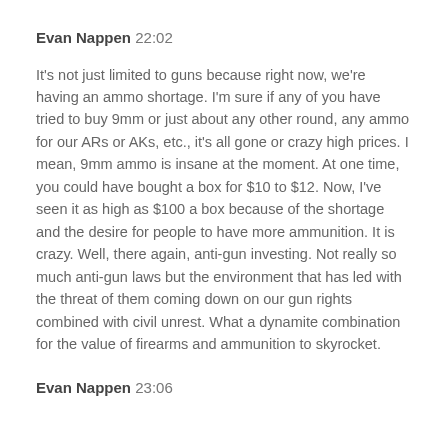Evan Nappen 22:02
It's not just limited to guns because right now, we're having an ammo shortage. I'm sure if any of you have tried to buy 9mm or just about any other round, any ammo for our ARs or AKs, etc., it's all gone or crazy high prices. I mean, 9mm ammo is insane at the moment. At one time, you could have bought a box for $10 to $12. Now, I've seen it as high as $100 a box because of the shortage and the desire for people to have more ammunition. It is crazy. Well, there again, anti-gun investing. Not really so much anti-gun laws but the environment that has led with the threat of them coming down on our gun rights combined with civil unrest. What a dynamite combination for the value of firearms and ammunition to skyrocket.
Evan Nappen 23:06